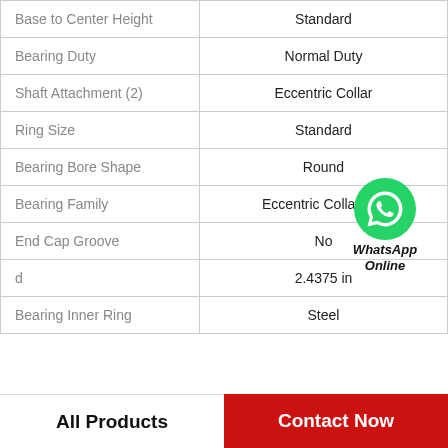| Property | Value |
| --- | --- |
| Base to Center Height | Standard |
| Bearing Duty | Normal Duty |
| Shaft Attachment (2) | Eccentric Collar |
| Ring Size | Standard |
| Bearing Bore Shape | Round |
| Bearing Family | Eccentric Collar B... |
| End Cap Groove | No |
| d | 2.4375 in |
| Bearing Inner Ring | Steel |
All Products   Contact Now